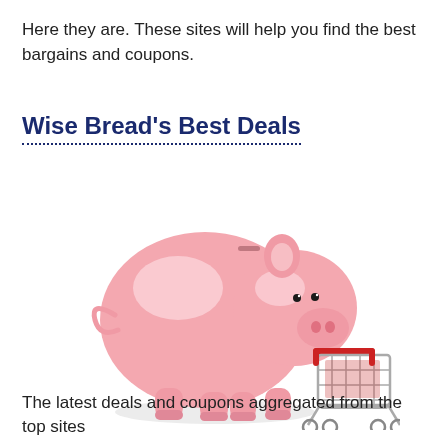Here they are. These sites will help you find the best bargains and coupons.
Wise Bread's Best Deals
[Figure (photo): A pink ceramic piggy bank facing a small miniature metal shopping cart with a red handle, on a white background.]
The latest deals and coupons aggregated from the top sites